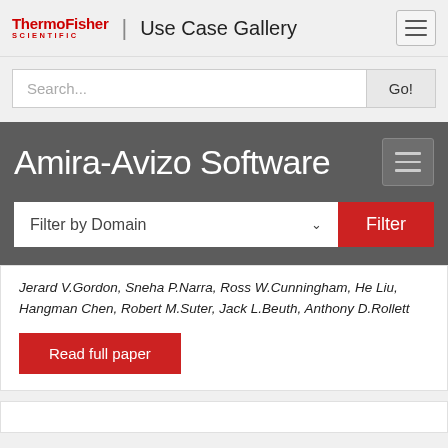ThermoFisher SCIENTIFIC | Use Case Gallery
Search...
Amira-Avizo Software
Filter by Domain
Jerard V.Gordon, Sneha P.Narra, Ross W.Cunningham, He Liu, Hangman Chen, Robert M.Suter, Jack L.Beuth, Anthony D.Rollett
Read full paper